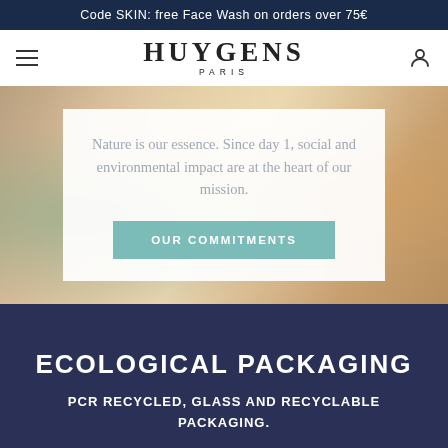Code SKIN: free Face Wash on orders over 75€
[Figure (screenshot): Huygens Paris brand logo with hamburger menu and user icon]
Nature is our essence. Since day 1, social and environmental impact are at the heart of our mission.
OUR COMMITMENTS
ECOLOGICAL PACKAGING
PCR RECYCLED, GLASS AND RECYCLABLE PACKAGING.